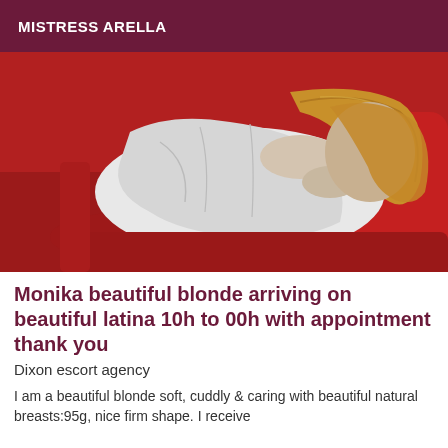MISTRESS ARELLA
[Figure (photo): A blonde woman in a white sleeveless top lying on a red couch/sofa, photographed from behind/side angle.]
Monika beautiful blonde arriving on beautiful latina 10h to 00h with appointment thank you
Dixon escort agency
I am a beautiful blonde soft, cuddly & caring with beautiful natural breasts:95g, nice firm shape. I receive